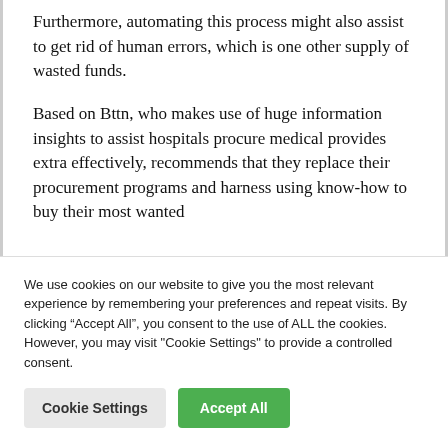Furthermore, automating this process might also assist to get rid of human errors, which is one other supply of wasted funds.
Based on Bttn, who makes use of huge information insights to assist hospitals procure medical provides extra effectively, recommends that they replace their procurement programs and harness using know-how to buy their most wanted
We use cookies on our website to give you the most relevant experience by remembering your preferences and repeat visits. By clicking “Accept All”, you consent to the use of ALL the cookies. However, you may visit "Cookie Settings" to provide a controlled consent.